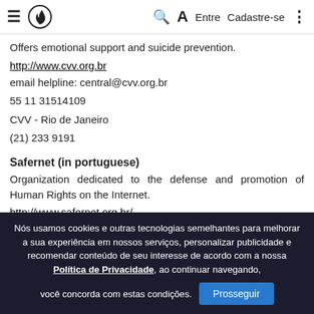≡ [flame logo] Q A Entre Cadastre-se ⋮
Offers emotional support and suicide prevention.
http://www.cvv.org.br
email helpline: central@cvv.org.br
55 11 31514109
CVV - Rio de Janeiro
(21) 233 9191
Safernet (in portuguese)
Organization dedicated to the defense and promotion of Human Rights on the Internet.
http://www.safernet.org.br/
Nós usamos cookies e outras tecnologias semelhantes para melhorar a sua experiência em nossos serviços, personalizar publicidade e recomendar conteúdo de seu interesse de acordo com a nossa Política de Privacidade, ao continuar navegando, você concorda com estas condições. Prosseguir